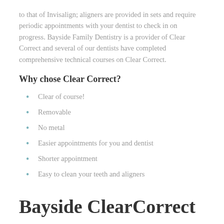to that of Invisalign; aligners are provided in sets and require periodic appointments with your dentist to check in on progress. Bayside Family Dentistry is a provider of Clear Correct and several of our dentists have completed comprehensive technical courses on Clear Correct.
Why chose Clear Correct?
Clear of course!
Removable
No metal
Easier appointments for you and dentist
Shorter appointment
Easy to clean your teeth and aligners
Bayside ClearCorrect treatment process